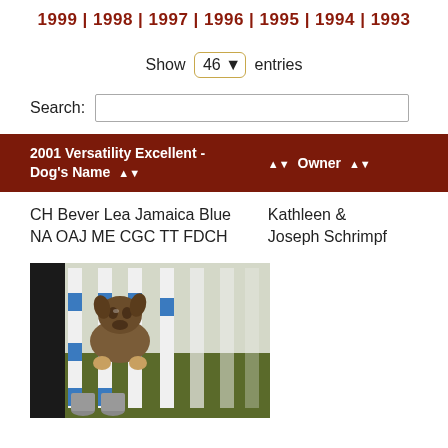1999 | 1998 | 1997 | 1996 | 1995 | 1994 | 1993
Show 46 entries
Search:
| 2001 Versatility Excellent - Dog's Name | Owner |
| --- | --- |
| CH Bever Lea Jamaica Blue NA OAJ ME CGC TT FDCH | Kathleen & Joseph Schrimpf |
[Figure (photo): Dog navigating weave poles in agility competition]